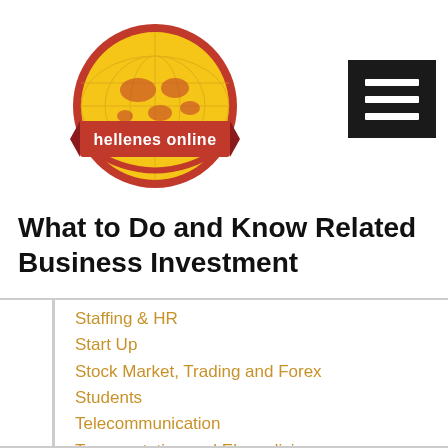[Figure (logo): Hellenes Online circular logo with yellow and red design, featuring a red banner with white text 'hellenes online' and a world map motif]
What to Do and Know Related Business Investment
Staffing & HR
Start Up
Stock Market, Trading and Forex
Students
Telecommunication
Transportation and Ekspedisi
Travel Agent